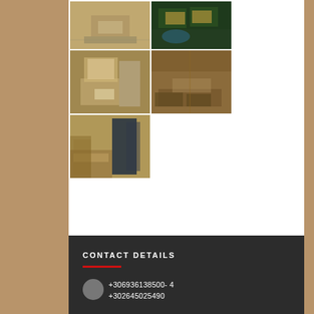[Figure (photo): Grid of 5 property photos: kitchen interior, aerial view of property with pool, bathroom with mirror, living room interior, kitchen/dining area]
CONTACT DETAILS
+306936138500- 4
+302645025490